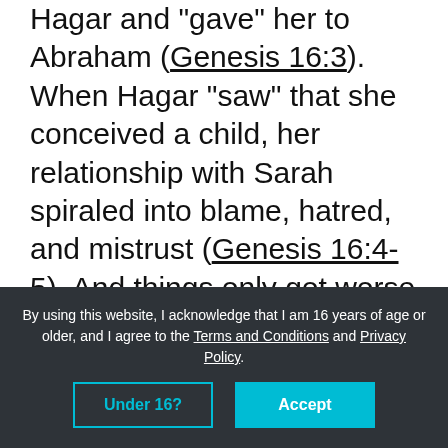Hagar and 'gave' her to Abraham (Genesis 16:3). When Hagar "saw" that she conceived a child, her relationship with Sarah spiraled into blame, hatred, and mistrust (Genesis 16:4-5). And things only got worse as Sarah continued to do what was "good in [her own] sight" against Hagar (Genesis 16:6). Sound familiar? Just like Adam and Eve, Abraham and Sarah made these choices by their own understanding of what was good and wise.

Thankfully their story didn't end there. God
By using this website, I acknowledge that I am 16 years of age or older, and I agree to the Terms and Conditions and Privacy Policy.
Under 16?
Accept